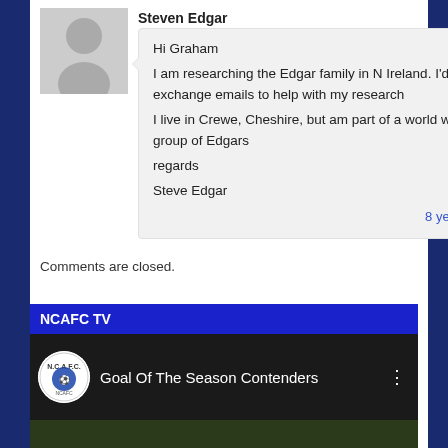Steven Edgar
Hi Graham
I am researching the Edgar family in N Ireland. I'd like to exchange emails to help with my research
I live in Crewe, Cheshire, but am part of a world wide group of Edgars
regards
Steve Edgar
8 years ago
Comments are closed.
NCAFC TV
[Figure (screenshot): YouTube video thumbnail showing 'Goal Of The Season Contenders' with NCAFC logo circle and three-dot menu icon, dark background with football players visible.]